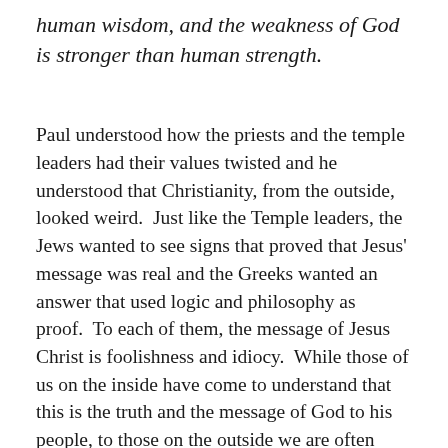human wisdom, and the weakness of God is stronger than human strength.
Paul understood how the priests and the temple leaders had their values twisted and he understood that Christianity, from the outside, looked weird.  Just like the Temple leaders, the Jews wanted to see signs that proved that Jesus' message was real and the Greeks wanted an answer that used logic and philosophy as proof.  To each of them, the message of Jesus Christ is foolishness and idiocy.  While those of us on the inside have come to understand that this is the truth and the message of God to his people, to those on the outside we are often